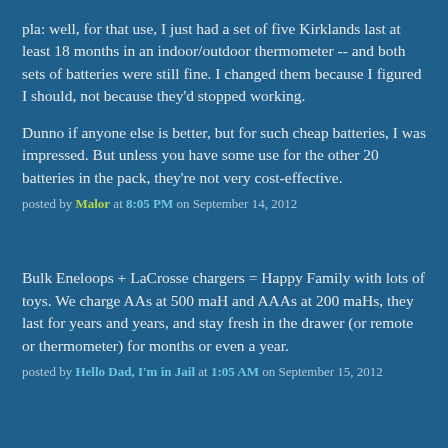pla: well, for that use, I just had a set of five Kirklands last at least 18 months in an indoor/outdoor thermometer -- and both sets of batteries were still fine. I changed them because I figured I should, not because they'd stopped working.
Dunno if anyone else is better, but for such cheap batteries, I was impressed. But unless you have some use for the other 20 batteries in the pack, they're not very cost-effective.
posted by Malor at 8:05 PM on September 14, 2012
Bulk Eneloops + LaCrosse chargers = Happy Family with lots of toys. We charge AAs at 500 maH and AAAs at 200 maHs, they last for years and years, and stay fresh in the drawer (or remote or thermometer) for months or even a year.
posted by Hello Dad, I'm in Jail at 1:05 AM on September 15, 2012